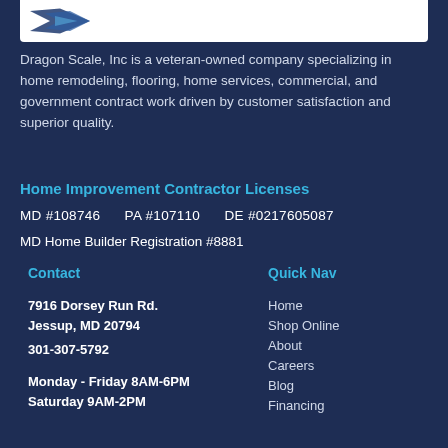[Figure (logo): Dragon Scale Inc logo with arrow/chevron graphic on white background]
Dragon Scale, Inc is a veteran-owned company specializing in home remodeling, flooring, home services, commercial, and government contract work driven by customer satisfaction and superior quality.
Home Improvement Contractor Licenses
MD #108746    PA #107110    DE #0217605087
MD Home Builder Registration #8881
Contact
Quick Nav
7916 Dorsey Run Rd.
Jessup, MD 20794
301-307-5792
Monday - Friday 8AM-6PM
Saturday 9AM-2PM
Home
Shop Online
About
Careers
Blog
Financing